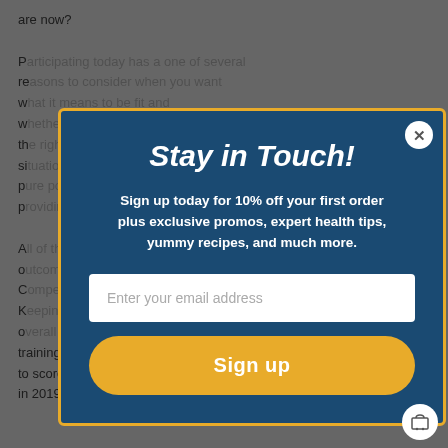are now?
Participating today has a one of several reasons... training and racing regimes. Robert even went on to score his second Spartan World Champion title in 2019 while taking PuroPower products
[Figure (screenshot): Modal popup overlay with dark blue background and gold border. Title: 'Stay in Touch!' Subtitle: 'Sign up today for 10% off your first order plus exclusive promos, expert health tips, yummy recipes, and much more.' Email input field placeholder: 'Enter your email address'. Gold 'Sign up' button. Close X button in top right corner.]